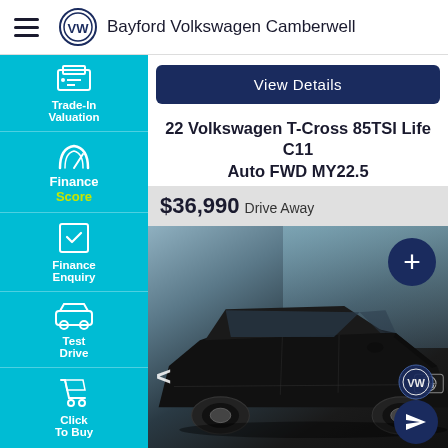Bayford Volkswagen Camberwell
View Details
22 Volkswagen T-Cross 85TSI Life C11 Auto FWD MY22.5
$36,990 Drive Away
Trade-In Valuation
Finance Score
Finance Enquiry
Test Drive
Click To Buy
[Figure (photo): Black Volkswagen T-Cross SUV parked in a showroom/outdoor setting, front 3/4 view]